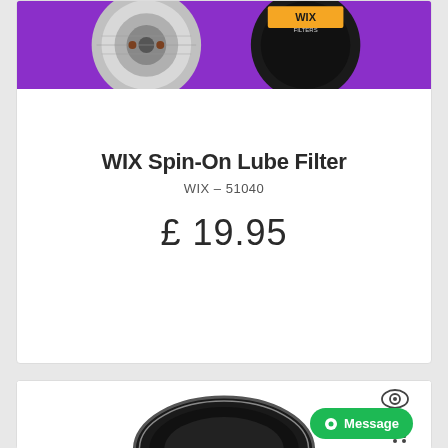[Figure (photo): Product photo of WIX oil filters on a purple background — two metallic/black oil filters visible]
WIX Spin-On Lube Filter
WIX – 51040
£ 19.95
[Figure (photo): Bottom portion of a second product card showing a black oil filter on white background, with an eye icon, a shopping cart icon, and a green Message button overlay]